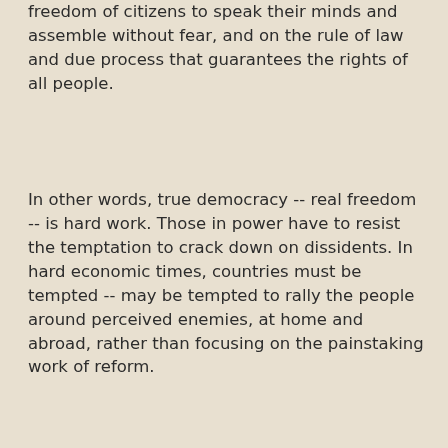freedom of citizens to speak their minds and assemble without fear, and on the rule of law and due process that guarantees the rights of all people.
In other words, true democracy -- real freedom -- is hard work. Those in power have to resist the temptation to crack down on dissidents. In hard economic times, countries must be tempted -- may be tempted to rally the people around perceived enemies, at home and abroad, rather than focusing on the painstaking work of reform.